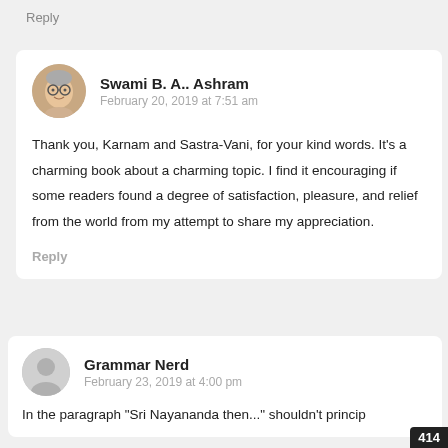Reply
Swami B. A.. Ashram
February 20, 2019 at 7:51 am
Thank you, Karnam and Sastra-Vani, for your kind words. It's a charming book about a charming topic. I find it encouraging if some readers found a degree of satisfaction, pleasure, and relief from the world from my attempt to share my appreciation.
Reply
Grammar Nerd
February 23, 2019 at 4:00 pm
In the paragraph "Sri Nayananda then..." shouldn't princip...